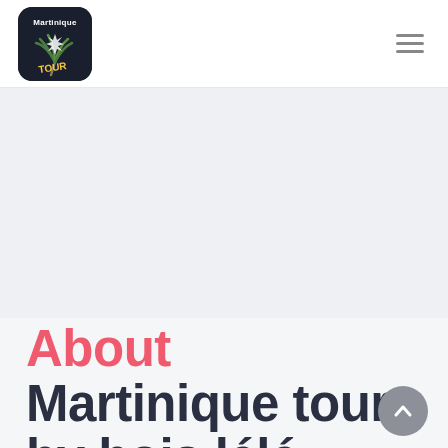[Figure (logo): Martinique Tour app logo — dark rounded square with palm tree and 'Martinique TOUR' text]
About Martinique tour by bois lélé